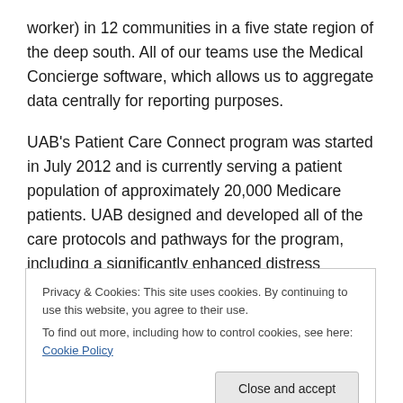worker) in 12 communities in a five state region of the deep south. All of our teams use the Medical Concierge software, which allows us to aggregate data centrally for reporting purposes.
UAB's Patient Care Connect program was started in July 2012 and is currently serving a patient population of approximately 20,000 Medicare patients. UAB designed and developed all of the care protocols and pathways for the program, including a significantly enhanced distress assessment tool, built into the Medical Concierge
Privacy & Cookies: This site uses cookies. By continuing to use this website, you agree to their use.
To find out more, including how to control cookies, see here: Cookie Policy
Close and accept